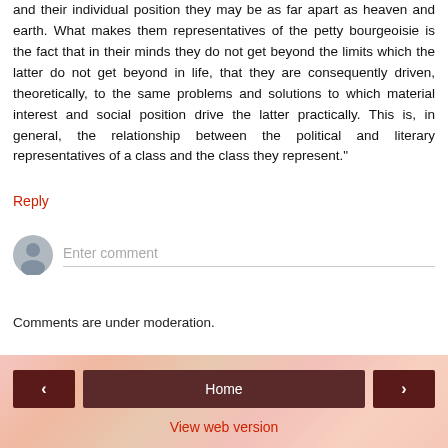and their individual position they may be as far apart as heaven and earth. What makes them representatives of the petty bourgeoisie is the fact that in their minds they do not get beyond the limits which the latter do not get beyond in life, that they are consequently driven, theoretically, to the same problems and solutions to which material interest and social position drive the latter practically. This is, in general, the relationship between the political and literary representatives of a class and the class they represent."
Reply
Enter comment
Comments are under moderation.
Home
View web version